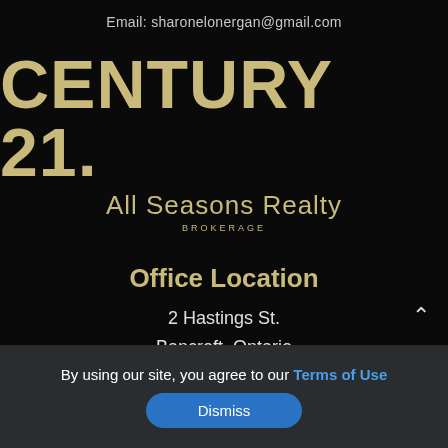Email: sharonelonergan@gmail.com
[Figure (logo): Century 21 All Seasons Realty Brokerage logo in gold/tan text on black background]
Office Location
2 Hastings St.
Bancroft, Ontario
By using our site, you agree to our Terms of Use
Dismiss